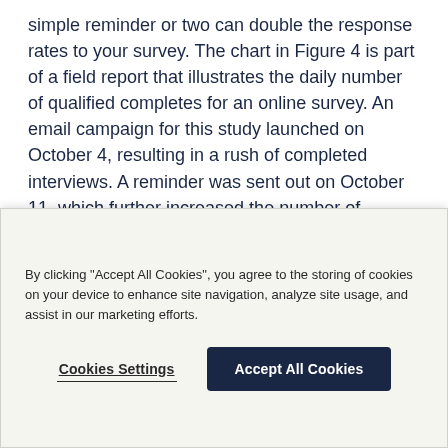simple reminder or two can double the response rates to your survey. The chart in Figure 4 is part of a field report that illustrates the daily number of qualified completes for an online survey. An email campaign for this study launched on October 4, resulting in a rush of completed interviews. A reminder was sent out on October 11, which further increased the number of completes.
[Figure (continuous-plot): Partial view of a line chart showing daily number of qualified completes. Y-axis label '60' visible, with a vertical pink/red line marker. Chart has light blue background. Rest of chart is cut off by cookie banner.]
By clicking "Accept All Cookies", you agree to the storing of cookies on your device to enhance site navigation, analyze site usage, and assist in our marketing efforts.